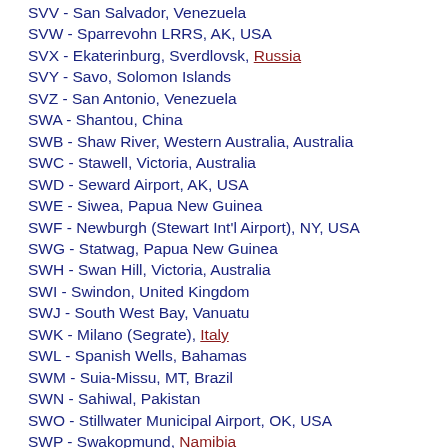SVV - San Salvador, Venezuela
SVW - Sparrevohn LRRS, AK, USA
SVX - Ekaterinburg, Sverdlovsk, Russia
SVY - Savo, Solomon Islands
SVZ - San Antonio, Venezuela
SWA - Shantou, China
SWB - Shaw River, Western Australia, Australia
SWC - Stawell, Victoria, Australia
SWD - Seward Airport, AK, USA
SWE - Siwea, Papua New Guinea
SWF - Newburgh (Stewart Int'l Airport), NY, USA
SWG - Statwag, Papua New Guinea
SWH - Swan Hill, Victoria, Australia
SWI - Swindon, United Kingdom
SWJ - South West Bay, Vanuatu
SWK - Milano (Segrate), Italy
SWL - Spanish Wells, Bahamas
SWM - Suia-Missu, MT, Brazil
SWN - Sahiwal, Pakistan
SWO - Stillwater Municipal Airport, OK, USA
SWP - Swakopmund, Namibia
SWQ - Sumbawa Besar, Sumbawa, Indonesia
SWS - Swansea, Wales, United Kingdom
SWT - Strzhewoi, Russia
SWU - Su Won City, South Korea